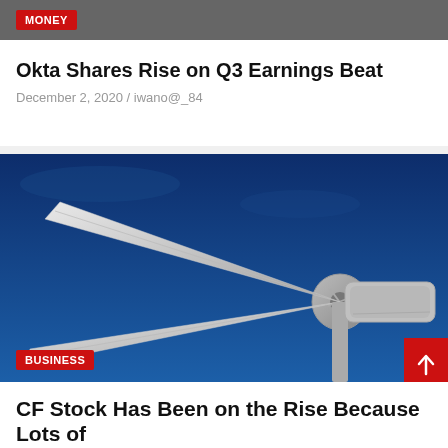MONEY
Okta Shares Rise on Q3 Earnings Beat
December 2, 2020 / iwano@_84
[Figure (photo): Close-up photograph of wind turbine blades against a deep blue sky, with a red scroll-to-top button in the bottom right corner]
BUSINESS
CF Stock Has Been on the Rise Because Lots of